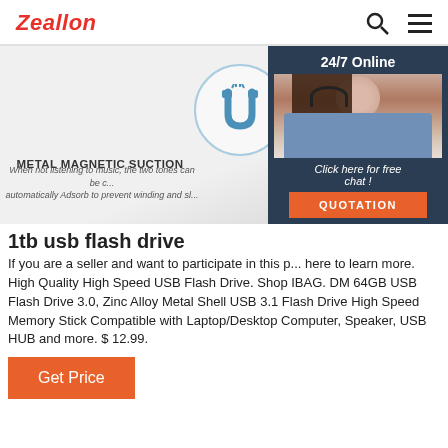Zeallon
[Figure (screenshot): Hero banner showing metal magnetic suction feature with magnet icon in circle, partial text about earphones, and 24/7 online chat widget with photo of woman wearing headset]
1tb usb flash drive
If you are a seller and want to participate in this p... here to learn more. High Quality High Speed USB Flash Drive. Shop IBAG. DM 64GB USB Flash Drive 3.0, Zinc Alloy Metal Shell USB 3.1 Flash Drive High Speed Memory Stick Compatible with Laptop/Desktop Computer, Speaker, USB HUB and more. $ 12.99.
Get Price